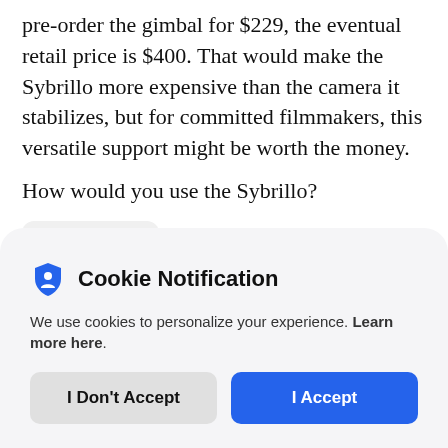pre-order the gimbal for $229, the eventual retail price is $400. That would make the Sybrillo more expensive than the camera it stabilizes, but for committed filmmakers, this versatile support might be worth the money.
How would you use the Sybrillo?
Product Reviews
[Figure (screenshot): Cookie Notification modal overlay with shield icon, text about cookies, and two buttons: I Don't Accept (gray) and I Accept (blue)]